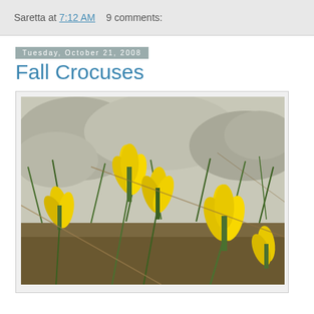Saretta at 7:12 AM   9 comments:
Tuesday, October 21, 2008
Fall Crocuses
[Figure (photo): Yellow fall crocus flowers blooming among rocks and grass on rocky ground, photographed outdoors in natural light]